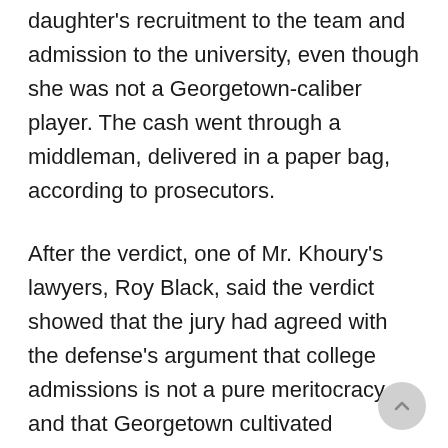Georgetown's tennis coach, to facilitate his daughter's recruitment to the team and admission to the university, even though she was not a Georgetown-caliber player. The cash went through a middleman, delivered in a paper bag, according to prosecutors.
After the verdict, one of Mr. Khoury's lawyers, Roy Black, said the verdict showed that the jury had agreed with the defense's argument that college admissions is not a pure meritocracy, and that Georgetown cultivated applicants from families that could afford to make generous donations to the university.